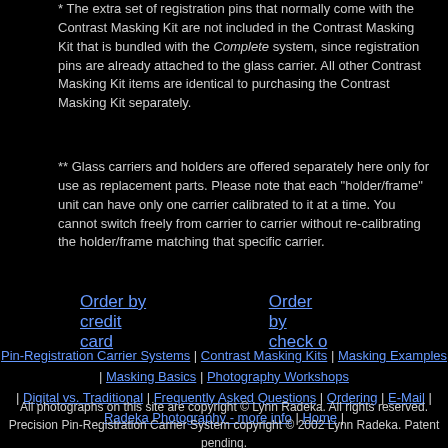* The extra set of registration pins that normally come with the Contrast Masking Kit are not included in the Contrast Masking Kit that is bundled with the Complete system, since registration pins are already attached to the glass carrier. All other Contrast Masking Kit items are identical to purchasing the Contrast Masking Kit separately.
** Glass carriers and holders are offered separately here only for use as replacement parts. Please note that each "holder/frame" unit can have only one carrier calibrated to it at a time. You cannot switch freely from carrier to carrier without re-calibrating the holder/frame matching that specific carrier.
Order by credit card   Order by check o
Pin-Registration Carrier Systems | Contrast Masking Kits | Masking Examples | Masking Basics | Photography Workshops | Digital vs. Traditional | Frequently Asked Questions | Ordering | E-Mail | Radeka Photography - more info | Home |
All photographs on this site are copyright © Lynn Radeka. All rights reserved. Precision Pin-Registration Carrier System copyright © 2002 Lynn Radeka. Patent pending. Contrast Masking Kit copyright © 2000 Lynn Radeka.